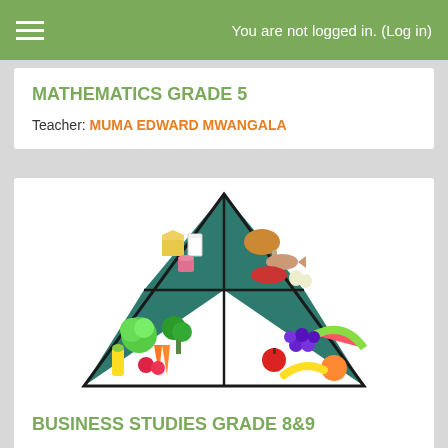You are not logged in. (Log in)
MATHEMATICS GRADE 5
Teacher: MUMA EDWARD MWANGALA
[Figure (illustration): Food pyramid diagram divided into four quadrants showing different food groups: upper left shows dairy products (cheese, milk, yogurt), upper right shows meat and protein foods (chicken, fish, meat, eggs), lower left shows vegetables (lettuce, broccoli, carrots, radishes, corn), lower right shows fruits (watermelon, grapes, apples, oranges, banana).]
BUSINESS STUDIES GRADE 8&9